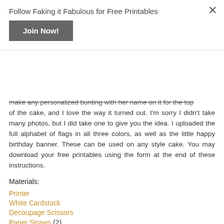Follow Faking it Fabulous for Free Printables
Join Now!
make any personalized bunting with her name on it for the top of the cake, and I love the way it turned out. I'm sorry I didn't take many photos, but I did take one to give you the idea. I uploaded the full alphabet of flags in all three colors, as well as the little happy birthday banner. These can be used on any style cake. You may download your free printables using the form at the end of these instructions.
Materials:
Printer
White Cardstock
Decoupage Scissors
Paper Straws (2)